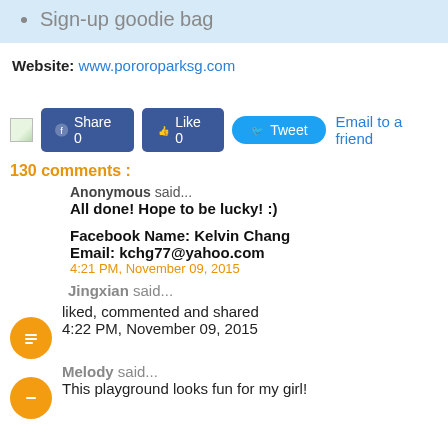Sign-up goodie bag
Website: www.pororoparksg.com
[Figure (screenshot): Social sharing buttons: Share 0, Like 0, Tweet, Email to a friend]
130 comments :
Anonymous said...
All done! Hope to be lucky! :)

Facebook Name: Kelvin Chang
Email: kchg77@yahoo.com
4:21 PM, November 09, 2015
Jingxian said...
liked, commented and shared
4:22 PM, November 09, 2015
Melody said...
This playground looks fun for my girl!